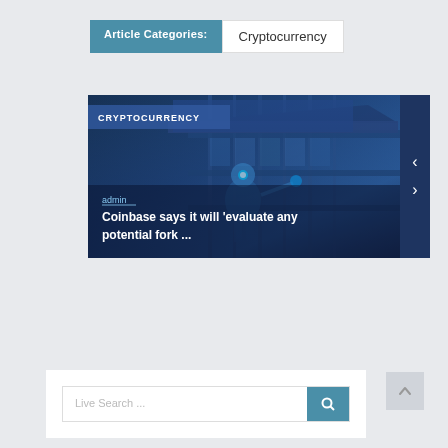Article Categories: Cryptocurrency
[Figure (photo): Coinbase building exterior with a robot/digital humanoid figure; blue-toned digital illustration. Overlaid text: CRYPTOCURRENCY category tag, admin author label, and article title 'Coinbase says it will evaluate any potential fork ...']
CRYPTOCURRENCY
admin
Coinbase says it will 'evaluate any potential fork ...
Live Search ...